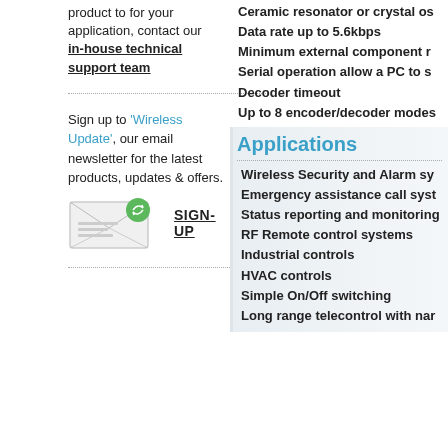product to for your application, contact our in-house technical support team
Sign up to 'Wireless Update', our email newsletter for the latest products, updates & offers.
[Figure (illustration): Envelope icon with green recycle/wireless symbol, representing email newsletter sign-up]
SIGN-UP
Ceramic resonator or crystal os
Data rate up to 5.6kbps
Minimum external component r
Serial operation allow a PC to s
Decoder timeout
Up to 8 encoder/decoder modes
Applications
Wireless Security and Alarm sy
Emergency assistance call syst
Status reporting and monitoring
RF Remote control systems
Industrial controls
HVAC controls
Simple On/Off switching
Long range telecontrol with nar
Please contact Radiometrix directly or y